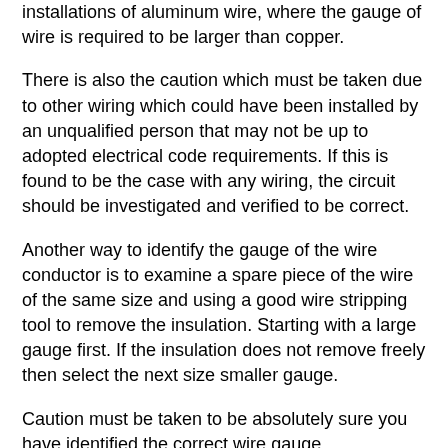installations of aluminum wire, where the gauge of wire is required to be larger than copper.
There is also the caution which must be taken due to other wiring which could have been installed by an unqualified person that may not be up to adopted electrical code requirements. If this is found to be the case with any wiring, the circuit should be investigated and verified to be correct.
Another way to identify the gauge of the wire conductor is to examine a spare piece of the wire of the same size and using a good wire stripping tool to remove the insulation. Starting with a large gauge first. If the insulation does not remove freely then select the next size smaller gauge.
Caution must be taken to be absolutely sure you have identified the correct wire gauge.
What can happen with nicks or impressions on wire conductors?
A nick or impression could cause be the beginning